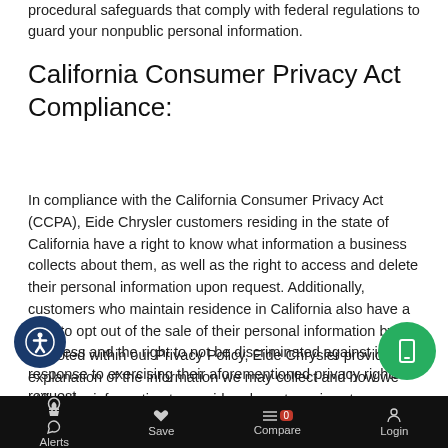procedural safeguards that comply with federal regulations to guard your nonpublic personal information.
California Consumer Privacy Act Compliance:
In compliance with the California Consumer Privacy Act (CCPA), Eide Chrysler customers residing in the state of California have a right to know what information a business collects about them, as well as the right to access and delete their personal information upon request. Additionally, customers who maintain residence in California also have a right to opt out of the sale of their personal information by a business and the right to not be discriminated against in response to exercising their aforementioned privacy rights request.
As noted within our Privacy Policy, Eide Chrysler provides an explanation of the information we may collect and how we utilize the information to provide relevant services to customers. Eide Chrysler does not share your information with outside parties. Eide Chrysler also does not discriminate against individuals who exercise their rights as defined within this policy.
Alerts   Save   Compare 0   Login